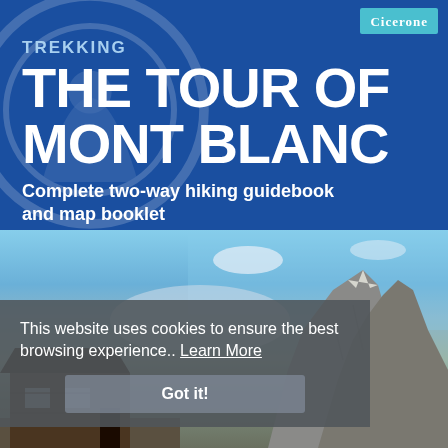[Figure (illustration): Book cover for 'Trekking The Tour of Mont Blanc' by Cicerone. Blue header with large white bold title text, Cicerone logo badge in top-right corner, background Cicerone watermark logo, subtitle text below title. Lower half shows a mountain landscape photograph with a chalet and rocky alpine peaks.]
TREKKING
THE TOUR OF MONT BLANC
Complete two-way hiking guidebook and map booklet
This website uses cookies to ensure the best browsing experience.. Learn More
Got it!